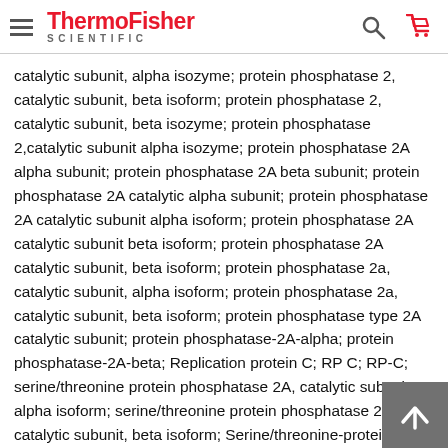ThermoFisher SCIENTIFIC
catalytic subunit, alpha isozyme; protein phosphatase 2, catalytic subunit, beta isoform; protein phosphatase 2, catalytic subunit, beta isozyme; protein phosphatase 2,catalytic subunit alpha isozyme; protein phosphatase 2A alpha subunit; protein phosphatase 2A beta subunit; protein phosphatase 2A catalytic alpha subunit; protein phosphatase 2A catalytic subunit alpha isoform; protein phosphatase 2A catalytic subunit beta isoform; protein phosphatase 2A catalytic subunit, beta isoform; protein phosphatase 2a, catalytic subunit, alpha isoform; protein phosphatase 2a, catalytic subunit, beta isoform; protein phosphatase type 2A catalytic subunit; protein phosphatase-2A-alpha; protein phosphatase-2A-beta; Replication protein C; RP C; RP-C; serine/threonine protein phosphatase 2A, catalytic subunit, alpha isoform; serine/threonine protein phosphatase 2A, catalytic subunit, beta isoform; Serine/threonine-protein phosphatase 2A catalytic subunit alpha isoform; Serine/threonine-protein phosphatase 2A catalytic subunit beta isoform; testicular tis protein Li 146